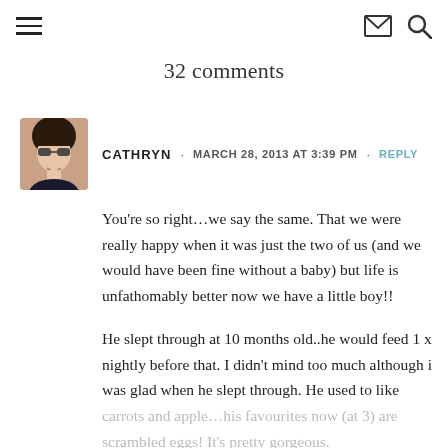≡  ✉  🔍
32 comments
[Figure (photo): Circular avatar photo of Cathryn, a woman with dark hair and sunglasses, smiling.]
CATHRYN · MARCH 28, 2013 AT 3:39 PM · REPLY
You're so right…we say the same. That we were really happy when it was just the two of us (and we would have been fine without a baby) but life is unfathomably better now we have a little boy!!
He slept through at 10 months old..he would feed 1 x nightly before that. I didn't mind too much although i was glad when he slept through. He used to like carrots and apple…his favourites now (at 3) are scrambled eggs! It's pretty gorgeous.